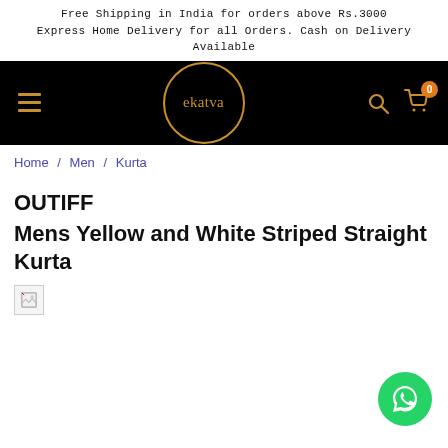Free Shipping in India for orders above Rs.3000
Express Home Delivery for all Orders. Cash on Delivery Available
[Figure (screenshot): Ekatva e-commerce website navigation bar. Black background with gold/orange hamburger menu icon on left, circular 'ekatva' logo in center with gold border, search icon and cart icon with orange badge showing '0' on right.]
Home / Men / Kurta
OUTIFF
Mens Yellow and White Striped Straight Kurta
[Figure (photo): Broken image placeholder icon]
[Figure (illustration): WhatsApp floating action button in green circle at bottom right]